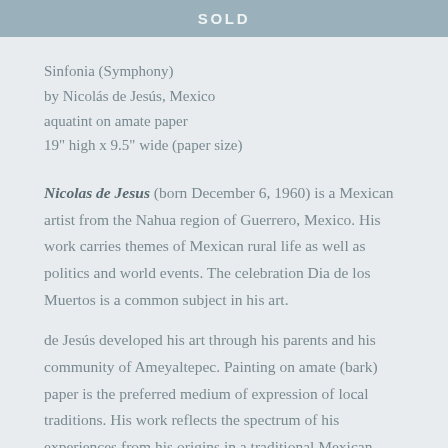SOLD
Sinfonia (Symphony)
by Nicolás de Jesús, Mexico
aquatint on amate paper
19" high x 9.5" wide (paper size)
Nicolas de Jesus (born December 6, 1960) is a Mexican artist from the Nahua region of Guerrero, Mexico. His work carries themes of Mexican rural life as well as politics and world events. The celebration Dia de los Muertos is a common subject in his art.
de Jesús developed his art through his parents and his community of Ameyaltepec. Painting on amate (bark) paper is the preferred medium of expression of local traditions. His work reflects the spectrum of his experiences from his origins in a traditional Mexican village, to his concern for preserving cultural identity.